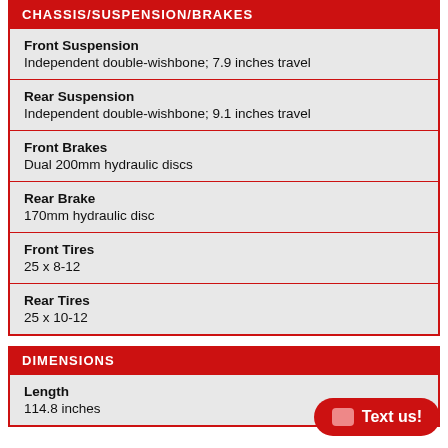CHASSIS/SUSPENSION/BRAKES
| Spec | Value |
| --- | --- |
| Front Suspension | Independent double-wishbone; 7.9 inches travel |
| Rear Suspension | Independent double-wishbone; 9.1 inches travel |
| Front Brakes | Dual 200mm hydraulic discs |
| Rear Brake | 170mm hydraulic disc |
| Front Tires | 25 x 8-12 |
| Rear Tires | 25 x 10-12 |
DIMENSIONS
| Spec | Value |
| --- | --- |
| Length | 114.8 inches |